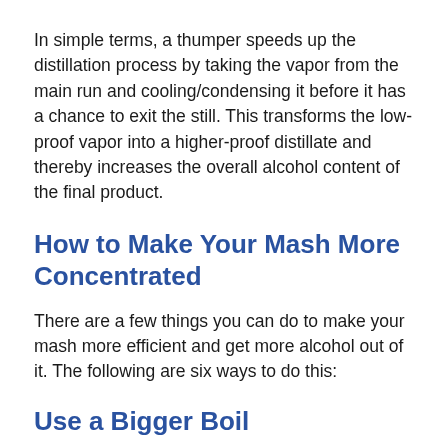In simple terms, a thumper speeds up the distillation process by taking the vapor from the main run and cooling/condensing it before it has a chance to exit the still. This transforms the low-proof vapor into a higher-proof distillate and thereby increases the overall alcohol content of the final product.
How to Make Your Mash More Concentrated
There are a few things you can do to make your mash more efficient and get more alcohol out of it. The following are six ways to do this:
Use a Bigger Boil...